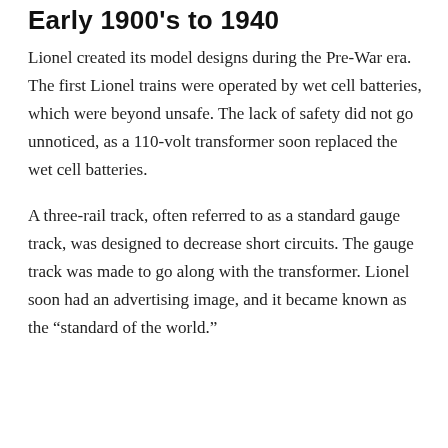Early 1900's to 1940
Lionel created its model designs during the Pre-War era. The first Lionel trains were operated by wet cell batteries, which were beyond unsafe. The lack of safety did not go unnoticed, as a 110-volt transformer soon replaced the wet cell batteries.
A three-rail track, often referred to as a standard gauge track, was designed to decrease short circuits. The gauge track was made to go along with the transformer. Lionel soon had an advertising image, and it became known as the “standard of the world.”